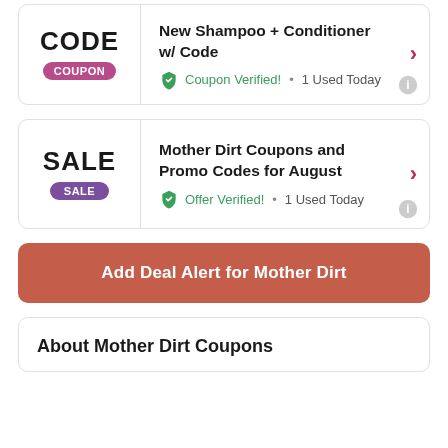CODE / COUPON — New Shampoo + Conditioner w/ Code — Coupon Verified! • 1 Used Today
SALE / SALE — Mother Dirt Coupons and Promo Codes for August — Offer Verified! • 1 Used Today
Add Deal Alert for Mother Dirt
About Mother Dirt Coupons